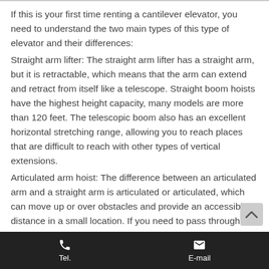If this is your first time renting a cantilever elevator, you need to understand the two main types of this type of elevator and their differences:
Straight arm lifter: The straight arm lifter has a straight arm, but it is retractable, which means that the arm can extend and retract from itself like a telescope. Straight boom hoists have the highest height capacity, many models are more than 120 feet. The telescopic boom also has an excellent horizontal stretching range, allowing you to reach places that are difficult to reach with other types of vertical extensions.
Articulated arm hoist: The difference between an articulated arm and a straight arm is articulated or articulated, which can move up or over obstacles and provide an accessible distance in a small location. If you need to pass through objects and enter the work area,
Tel.   E-mail